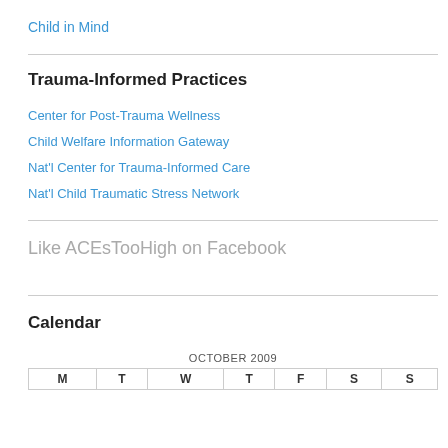Child in Mind
Trauma-Informed Practices
Center for Post-Trauma Wellness
Child Welfare Information Gateway
Nat'l Center for Trauma-Informed Care
Nat'l Child Traumatic Stress Network
Like ACEsTooHigh on Facebook
Calendar
| M | T | W | T | F | S | S |
| --- | --- | --- | --- | --- | --- | --- |